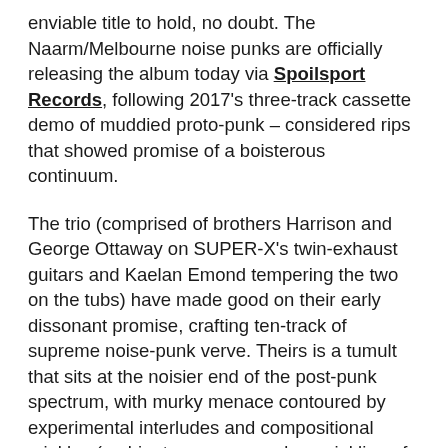enviable title to hold, no doubt. The Naarm/Melbourne noise punks are officially releasing the album today via Spoilsport Records, following 2017's three-track cassette demo of muddied proto-punk – considered rips that showed promise of a boisterous continuum.
The trio (comprised of brothers Harrison and George Ottaway on SUPER-X's twin-exhaust guitars and Kaelan Emond tempering the two on the tubs) have made good on their early dissonant promise, crafting ten-track of supreme noise-punk verve. Theirs is a tumult that sits at the noisier end of the post-punk spectrum, with murky menace contoured by experimental interludes and compositional crinkles (ambient passages and a sprinkling of robust 'wahh' riffage) that hint at a healthy appreciation for psychedelia. Predominantly though, SUPER-X prefer to talk turkey with a relentless guitar-led assault (there's no bass to be found in this bad boy, which is not a bad thing). Think formidable gusts of sound that kick up dust and rattle windows. The album is mostly unsettling swells